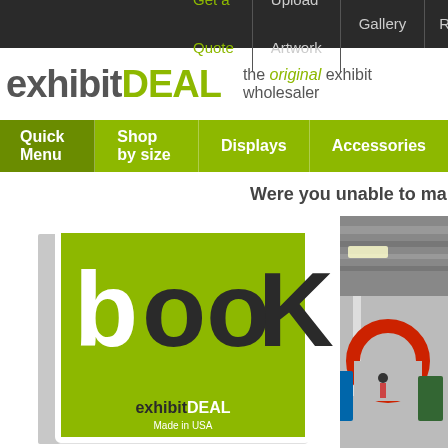Get a Quote | Upload Artwork | Gallery | Rev
exhibitDEAL — the original exhibit wholesaler
Quick Menu | Shop by size | Displays | Accessories
Were you unable to make it to April 7th shown
[Figure (photo): exhibitDEAL green book catalog cover with 'look' text and 'exhibitDEAL Made in USA' branding, alongside a showroom photo with red arch display and exhibit stands]